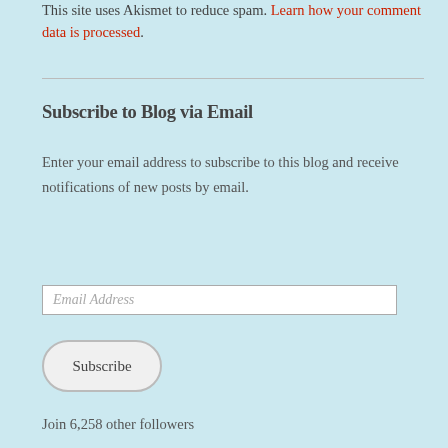This site uses Akismet to reduce spam. Learn how your comment data is processed.
Subscribe to Blog via Email
Enter your email address to subscribe to this blog and receive notifications of new posts by email.
Email Address
Subscribe
Join 6,258 other followers